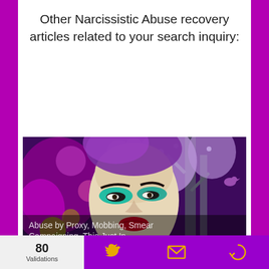Other Narcissistic Abuse recovery articles related to your search inquiry:
[Figure (illustration): Digital illustration of a stylized woman's face with dramatic teal eye makeup, red lips, wearing a purple/floral headpiece, with a decorative purple tree and bird in the background. Overlay text reads 'Abuse by Proxy, Mobbing, Smear Campaigning, This Just In' and 'Smear Campaign survival strategies recommended by and for Abuse Survivors']
[Figure (photo): Partial photo at bottom showing a brownish/wooden background, partially cut off]
80 Validations